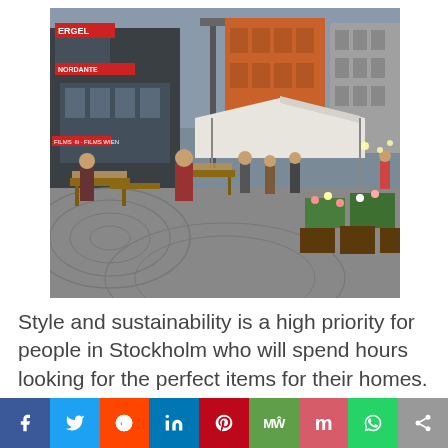[Figure (photo): Outdoor flea market / street market scene in Stockholm. Cobblestone square with vendor stalls, white tent canopies, people browsing goods and flowers. Background shows urban buildings including a red-orange brick building and modern glass structures.]
Style and sustainability is a high priority for people in Stockholm who will spend hours looking for the perfect items for their homes. Second hand items are prefferable as they are better for the environment. This makes second hand markets very popular in Sweden and